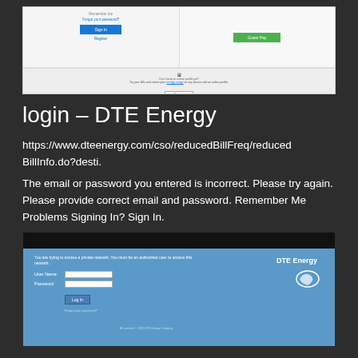[Figure (screenshot): Screenshot of DTE Energy website login page showing two sign-in boxes and a register section with a computer icon]
login – DTE Energy
https://www.dteenergy.com/cso/reducedBillFreq/reducedBillInfo.do?desti.
The email or password you entered is incorrect. Please try again. Please provide correct email and password. Remember Me Problems Signing In? Sign In.
[Figure (screenshot): Screenshot of DTE Energy internal network login page with User Name and Password fields on blue background with DTE Energy logo]